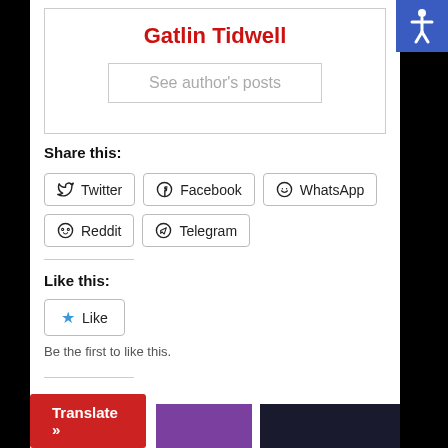Gatlin Tidwell
See author's posts
Share this:
Twitter Facebook WhatsApp Reddit Telegram
Like this:
Like
Be the first to like this.
Translate »